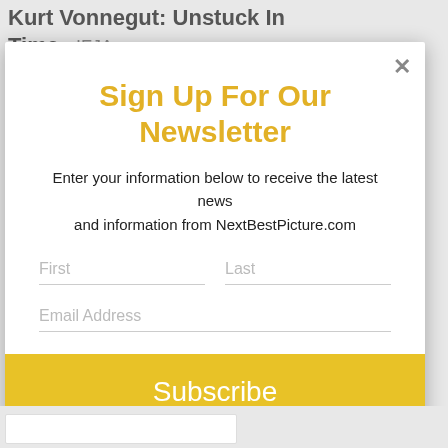Kurt Vonnegut: Unstuck In Time - IFJA
Sign Up For Our Newsletter
Enter your information below to receive the latest news and information from NextBestPicture.com
First
Last
Email Address
Subscribe
Email